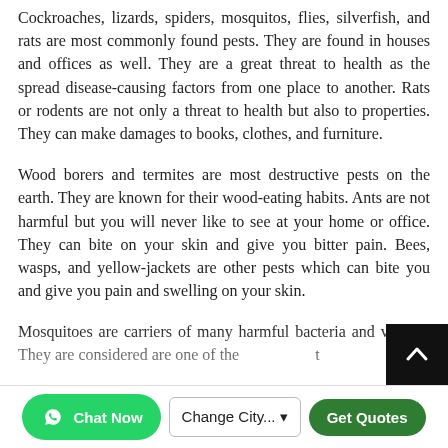Cockroaches, lizards, spiders, mosquitos, flies, silverfish, and rats are most commonly found pests. They are found in houses and offices as well. They are a great threat to health as the spread disease-causing factors from one place to another. Rats or rodents are not only a threat to health but also to properties. They can make damages to books, clothes, and furniture.
Wood borers and termites are most destructive pests on the earth. They are known for their wood-eating habits. Ants are not harmful but you will never like to see at your home or office. They can bite on your skin and give you bitter pain. Bees, wasps, and yellow-jackets are other pests which can bite you and give you pain and swelling on your skin.
Mosquitoes are carriers of many harmful bacteria and viruses. They are considered are one of the most...